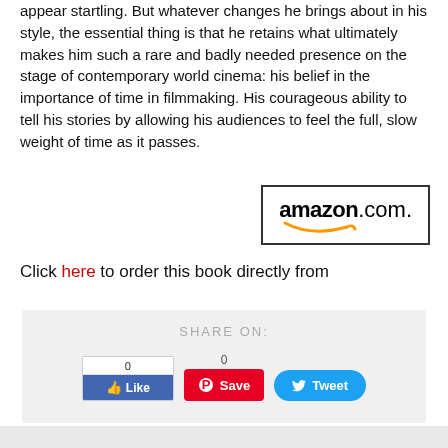appear startling. But whatever changes he brings about in his style, the essential thing is that he retains what ultimately makes him such a rare and badly needed presence on the stage of contemporary world cinema: his belief in the importance of time in filmmaking. His courageous ability to tell his stories by allowing his audiences to feel the full, slow weight of time as it passes.
[Figure (logo): Amazon.com logo with smile graphic in a bordered box]
Click here to order this book directly from
SHARE ON:
[Figure (screenshot): Social share buttons: Facebook Like (count 0), Pinterest Save (count 0), Twitter Tweet]